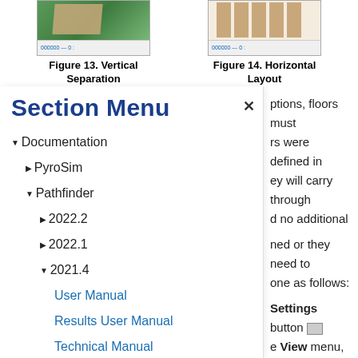[Figure (screenshot): Screenshot showing vertical separation layout in Pathfinder]
Figure 13. Vertical Separation
[Figure (screenshot): Screenshot showing horizontal layout in Pathfinder]
Figure 14. Horizontal Layout
Section Menu
▼ Documentation
▶ PyroSim
▼ Pathfinder
▶ 2022.2
▶ 2022.1
▼ 2021.4
User Manual
Results User Manual
Technical Manual
Verification and Validation
Monte Carlo User Manual
Scripting API Manual
Software QA Plan
ptions, floors must rs were defined in ey will carry through d no additional
ned or they need to one as follows:
Settings button [icon] e View menu, s. This will open the g as shown in Figure
ne Edit button. A